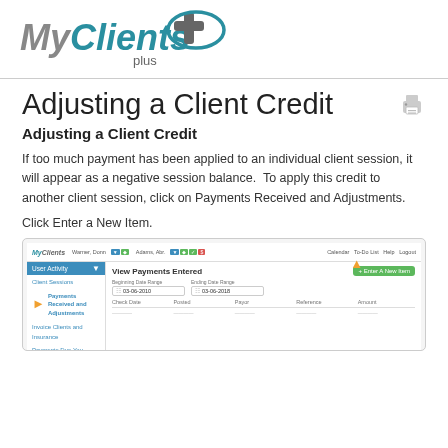[Figure (logo): MyClients Plus logo with teal and gray text and a plus sign icon]
Adjusting a Client Credit
Adjusting a Client Credit
If too much payment has been applied to an individual client session, it will appear as a negative session balance.  To apply this credit to another client session, click on Payments Received and Adjustments.
Click Enter a New Item.
[Figure (screenshot): Screenshot of MyClients Plus application showing the Payments Received and Adjustments section with an orange arrow pointing to the sidebar link and an orange up arrow pointing to the Enter A New Item button. View Payments Entered panel is shown with date range fields and a table header with columns: Check Date, Posted, Payor, Reference, Amount.]